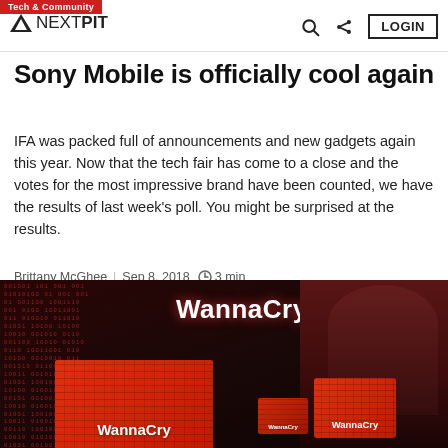Tech & Community | NEXTPIT | LOGIN
Sony Mobile is officially cool again
IFA was packed full of announcements and new gadgets again this year. Now that the tech fair has come to a close and the votes for the most impressive brand have been counted, we have the results of last week's poll. You might be surprised at the results.
Brittany McGhee | Sep 8, 2018 | 3 min
2 | Sony Xperia XZ3 | Sony
[Figure (photo): A person with hands raised on their head sits in front of multiple screens showing the WannaCry ransomware attack, with red matrix-style binary code on a dark background. Multiple laptop and tablet screens display 'WannaCry' text in red.]